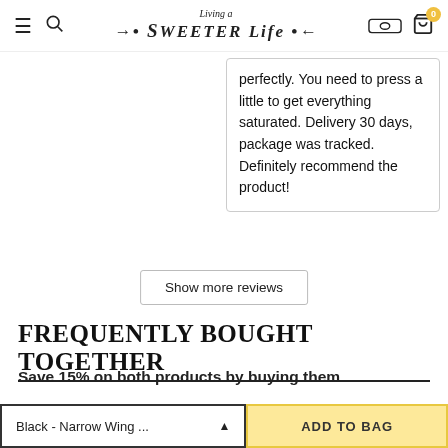Living a Sweeter Life — navigation header with menu, search, logo, payment icon, cart (0)
perfectly. You need to press a little to get everything saturated. Delivery 30 days, package was tracked. Definitely recommend the product!
Show more reviews
FREQUENTLY BOUGHT TOGETHER
Save 15% on both products by buying them
Black - Narrow Wing ... ▲
ADD TO BAG